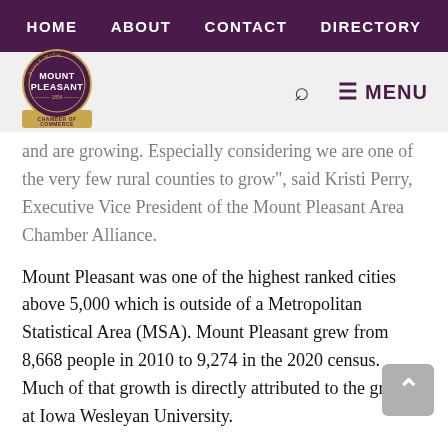HOME   ABOUT   CONTACT   DIRECTORY
[Figure (logo): Mount Pleasant Chamber of Commerce circular logo with gold base]
and are growing. Especially considering we are one of the very few rural counties to grow", said Kristi Perry, Executive Vice President of the Mount Pleasant Area Chamber Alliance.
Mount Pleasant was one of the highest ranked cities above 5,000 which is outside of a Metropolitan Statistical Area (MSA). Mount Pleasant grew from 8,668 people in 2010 to 9,274 in the 2020 census. Much of that growth is directly attributed to the growth at Iowa Wesleyan University.
“Iowa Wesleyan University has experienced steady